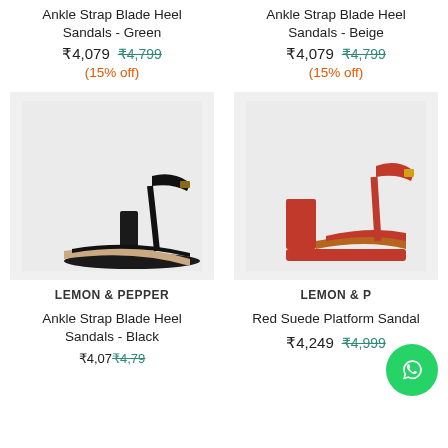Ankle Strap Blade Heel Sandals - Green
₹4,079 ₹4,799 (15% off)
Ankle Strap Blade Heel Sandals - Beige
₹4,079 ₹4,799 (15% off)
[Figure (photo): Black ankle strap blade heel sandal on grey background]
[Figure (photo): Red suede platform sandal on grey background]
LEMON & PEPPER
Ankle Strap Blade Heel Sandals - Black
LEMON & P
Red Suede Platform Sandal
₹4,249 ₹4,999